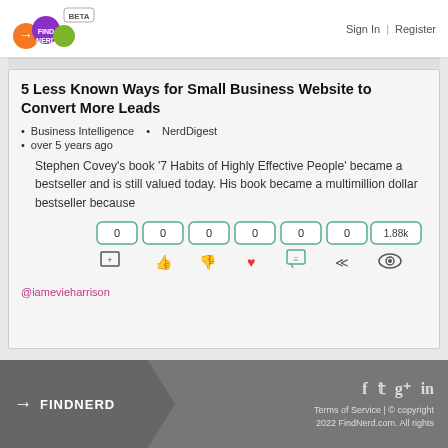FindNerd BETA | Sign In | Register
5 Less Known Ways for Small Business Website to Convert More Leads
Business Intelligence   •   NerdDigest
over 5 years ago
Stephen Covey's book '7 Habits of Highly Effective People' became a bestseller and is still valued today. His book became a multimillion dollar bestseller because
[Figure (other): Interaction icons: bookmarks, thumbs up, thumbs down, heart, comment, share, views. Count bubbles: 0, 0, 0, 0, 0, 0, 1.88k]
@iamevieharrison
FINDNERD | Terms of Service | © copyright 2022 FindNerd.com. All rights